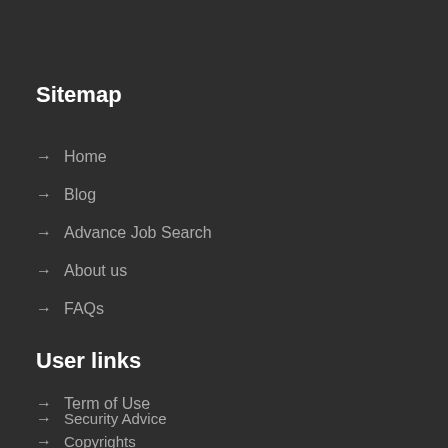Sitemap
→ Home
→ Blog
→ Advance Job Search
→ About us
→ FAQs
User links
→ Term of Use
→ Security Advice
→ Copyrights
→ Privacy Policy